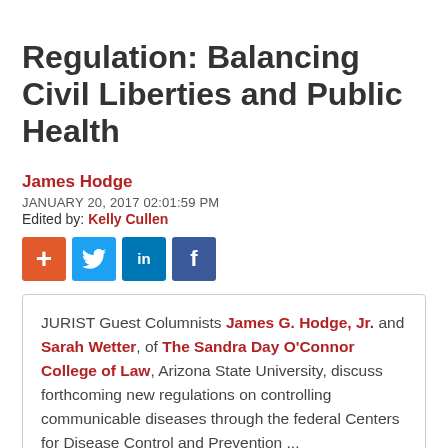Regulation: Balancing Civil Liberties and Public Health
James Hodge
JANUARY 20, 2017 02:01:59 PM
Edited by: Kelly Cullen
[Figure (infographic): Social sharing buttons: orange plus (+), Twitter (blue bird), LinkedIn (blue 'in'), Facebook (dark blue 'f')]
JURIST Guest Columnists James G. Hodge, Jr. and Sarah Wetter, of The Sandra Day O'Connor College of Law, Arizona State University, discuss forthcoming new regulations on controlling communicable diseases through the federal Centers for Disease Control and Prevention ...
On January 19, 2017, the federal Centers for Disease Control and Prevention (CDC) published a final rule to